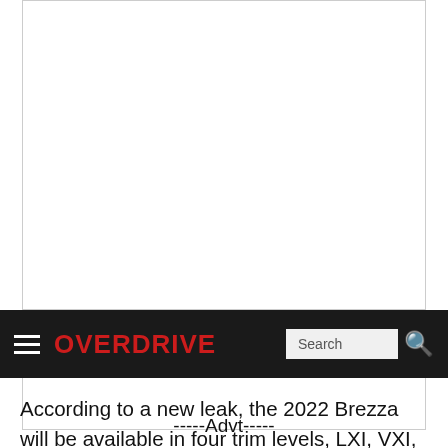[Figure (screenshot): Advertisement placeholder box with border]
OVERDRIVE — navigation bar with hamburger menu, OVERDRIVE logo in red, Search input and search icon
According to a new leak, the 2022 Brezza will be available in four trim levels, LXI, VXI, ZXI and ZXI+. The top three variants, with the exception of the basic LXI, are likely to receive automatic transmission choices.
-----Advt-----